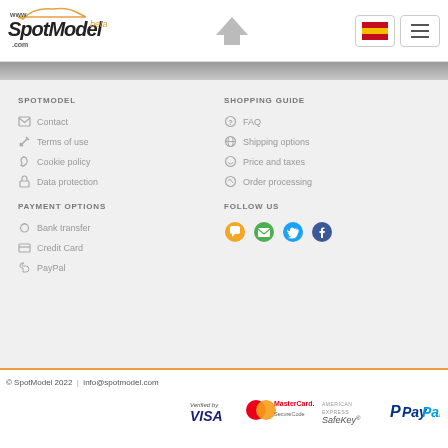SpotModel beta - header navigation
SPOTMODEL
Contact
Terms of use
Cookie policy
Data protection
SHOPPING GUIDE
FAQ
Shipping options
Price and taxes
Order processing
PAYMENT OPTIONS
Bank transfer
Credit Card
PayPal
FOLLOW US
[Figure (infographic): Social media icons: chat bubble (orange), email (green), Twitter (blue), Facebook (dark blue)]
© SpotModel 2022  |  info@spotmodel.com
[Figure (logo): Payment logos: Verified by VISA, MasterCard SecureCode, American Express SafeKey, PayPal]